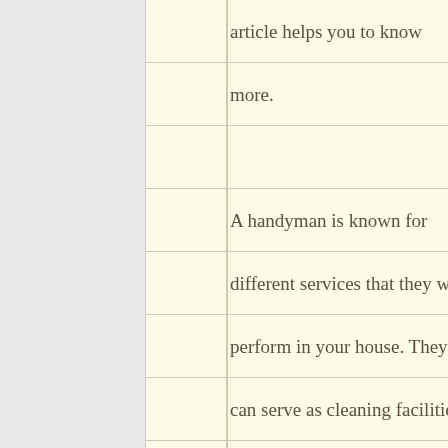article helps you to know more.
A handyman is known for different services that they will perform in your house. They can serve as cleaning facilities. They can inspect and maintain things that need repair. Also, they can enhance your landscape at home. They also have abilities to take good care of the exquisite look of your carpet.
On the other hand, a handyman needs training and skills to pass